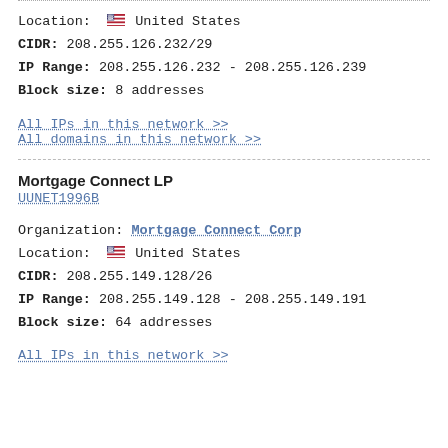Location: United States
CIDR: 208.255.126.232/29
IP Range: 208.255.126.232 - 208.255.126.239
Block size: 8 addresses
All IPs in this network >>
All domains in this network >>
Mortgage Connect LP
UUNET1996B
Organization: Mortgage Connect Corp
Location: United States
CIDR: 208.255.149.128/26
IP Range: 208.255.149.128 - 208.255.149.191
Block size: 64 addresses
All IPs in this network >>